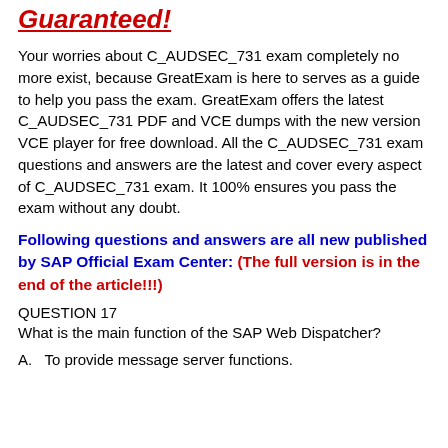Guaranteed!
Your worries about C_AUDSEC_731 exam completely no more exist, because GreatExam is here to serves as a guide to help you pass the exam. GreatExam offers the latest C_AUDSEC_731 PDF and VCE dumps with the new version VCE player for free download. All the C_AUDSEC_731 exam questions and answers are the latest and cover every aspect of C_AUDSEC_731 exam. It 100% ensures you pass the exam without any doubt.
Following questions and answers are all new published by SAP Official Exam Center: (The full version is in the end of the article!!!)
QUESTION 17
What is the main function of the SAP Web Dispatcher?
A.   To provide message server functions.